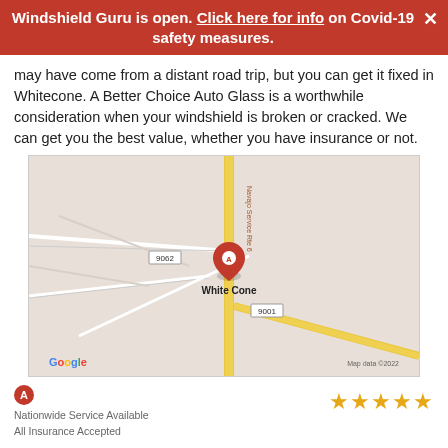Windshield Guru is open. Click here for info on Covid-19 safety measures.
may have come from a distant road trip, but you can get it fixed in Whitecone. A Better Choice Auto Glass is a worthwhile consideration when your windshield is broken or cracked. We can get you the best value, whether you have insurance or not.
[Figure (map): Google Map showing White Cone location with a red marker labeled A, road 9062, road 9001, and Navajo Service Rte 6 visible. Map data ©2022.]
A
Nationwide Service Available
All Insurance Accepted
★★★★★
Instant FREE Quotes NOW!